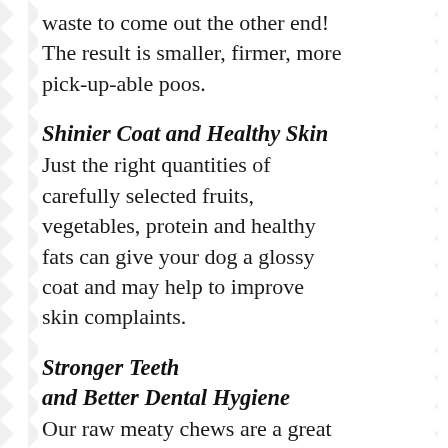waste to come out the other end! The result is smaller, firmer, more pick-up-able poos.
Shinier Coat and Healthy Skin
Just the right quantities of carefully selected fruits, vegetables, protein and healthy fats can give your dog a glossy coat and may help to improve skin complaints.
Stronger Teeth and Better Dental Hygiene
Our raw meaty chews are a great